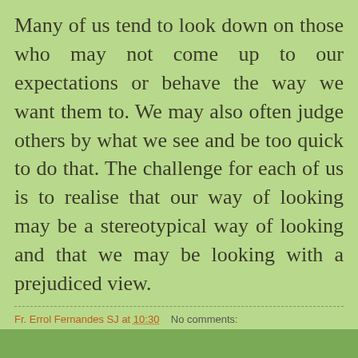Many of us tend to look down on those who may not come up to our expectations or behave the way we want them to. We may also often judge others by what we see and be too quick to do that. The challenge for each of us is to realise that our way of looking may be a stereotypical way of looking and that we may be looking with a prejudiced view.
Fr. Errol Fernandes SJ at 10:30    No comments: